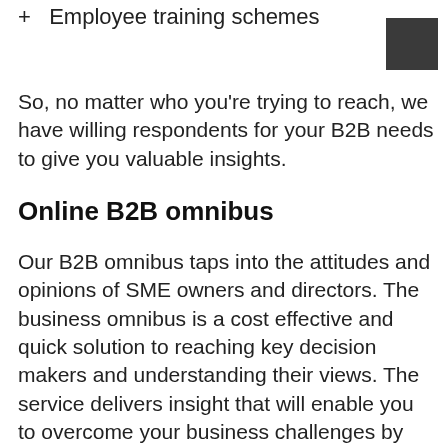+ Employee training schemes
So, no matter who you're trying to reach, we have willing respondents for your B2B needs to give you valuable insights.
Online B2B omnibus
Our B2B omnibus taps into the attitudes and opinions of SME owners and directors. The business omnibus is a cost effective and quick solution to reaching key decision makers and understanding their views. The service delivers insight that will enable you to overcome your business challenges by accessing the views of the people that could determine your success. Find out more